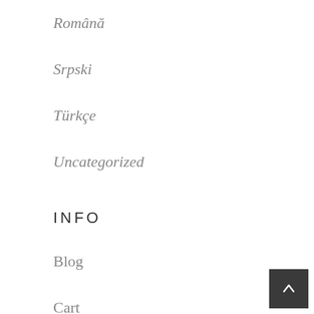Română
Srpski
Türkçe
Uncategorized
INFO
Blog
Cart
Cart
Checkout
CV català
CV chinese